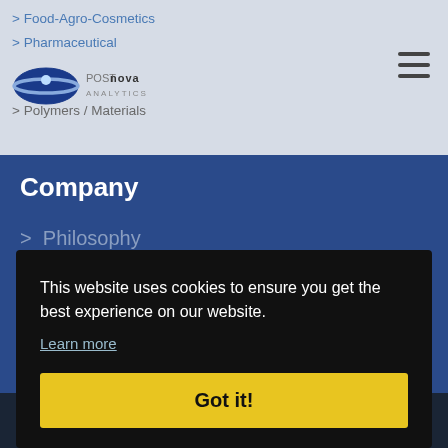> Food-Agro-Cosmetics
> Pharmaceutical
> Postnova
> Polymers / Materials
[Figure (logo): Postnova Analytics logo with blue ellipse/planet graphic and POSTNOVA text]
Company
> Philosophy
> History
> Partners
> Sitemap
This website uses cookies to ensure you get the best experience on our website.
Learn more
Got it!
2022 © by Postnova Analytics GmbH